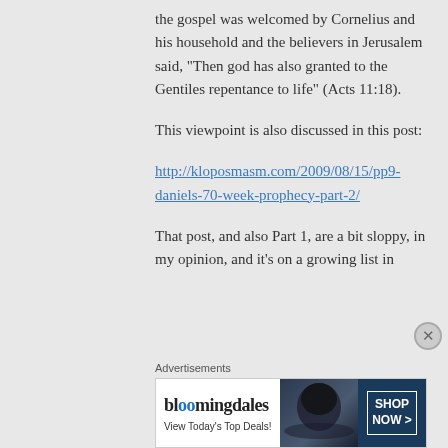the gospel was welcomed by Cornelius and his household and the believers in Jerusalem said, “Then god has also granted to the Gentiles repentance to life” (Acts 11:18).

This viewpoint is also discussed in this post:

http://kloposmasm.com/2009/08/15/pp9-daniels-70-week-prophecy-part-2/

That post, and also Part 1, are a bit sloppy, in my opinion, and it’s on a growing list in
Advertisements
[Figure (screenshot): Bloomingdales advertisement banner with logo, 'View Today's Top Deals!' tagline, hat image, and 'SHOP NOW >' button]